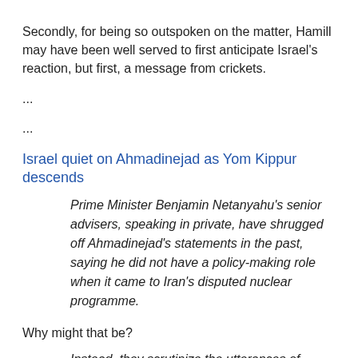Secondly, for being so outspoken on the matter, Hamill may have been well served to first anticipate Israel's reaction, but first, a message from crickets.
...
...
Israel quiet on Ahmadinejad as Yom Kippur descends
Prime Minister Benjamin Netanyahu's senior advisers, speaking in private, have shrugged off Ahmadinejad's statements in the past, saying he did not have a policy-making role when it came to Iran's disputed nuclear programme.
Why might that be?
Instead, they scrutinize the utterances of Iranian Supreme Leader Ayatollah Ali Khamenei, who, they